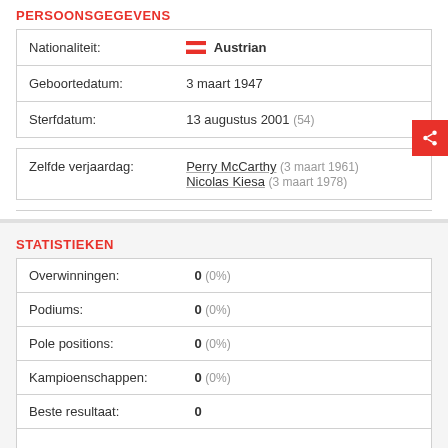PERSOONSGEGEVENS
| Nationaliteit: | Austrian |
| Geboortedatum: | 3 maart 1947 |
| Sterfdatum: | 13 augustus 2001 (54) |
| Zelfde verjaardag: | Perry McCarthy (3 maart 1961)
Nicolas Kiesa (3 maart 1978) |
STATISTIEKEN
| Overwinningen: | 0 (0%) |
| Podiums: | 0 (0%) |
| Pole positions: | 0 (0%) |
| Kampioenschappen: | 0 (0%) |
| Beste resultaat: | 0 |